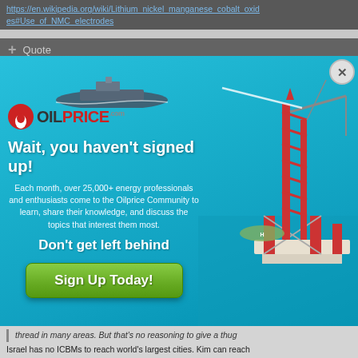https://en.wikipedia.org/wiki/Lithium_nickel_manganese_cobalt_oxides#Use_of_NMC_electrodes
+ Quote
[Figure (screenshot): OilPrice.com popup advertisement over a background of an oil rig and ocean. Contains logo, headline 'Wait, you haven't signed up!', body text about 25,000+ energy professionals, subheadline 'Don't get left behind', and a green 'Sign Up Today!' button. A close (X) button appears in the top right corner.]
thread in many areas. But that's no reasoning to give a thug like Putin anything. He is an enemy who can't be bought...
Expand
Israel has no ICBMs to reach world's largest cities. Kim can reach